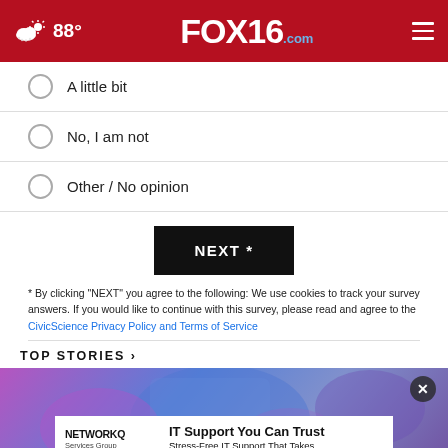FOX16.com — 88°
A little bit
No, I am not
Other / No opinion
NEXT *
* By clicking "NEXT" you agree to the following: We use cookies to track your survey answers. If you would like to continue with this survey, please read and agree to the CivicScience Privacy Policy and Terms of Service
TOP STORIES ›
[Figure (photo): Colorful background image for top stories section with purple and blue hues, with a NetworkQ Services Group advertisement overlay at the bottom reading 'IT Support You Can Trust — Stress-Free IT Support That Takes Care of Your Computers & Phones']